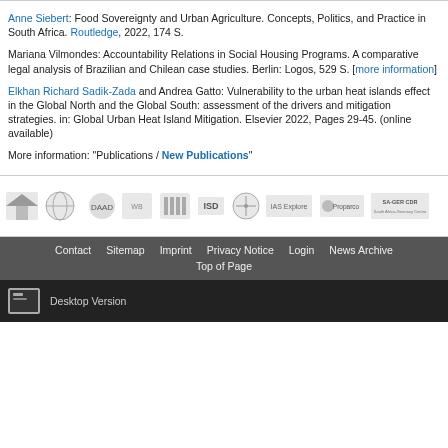Anne Siebert: Food Sovereignty and Urban Agriculture. Concepts, Politics, and Practice in South Africa. Routledge, 2022, 174 S.
Mariana Vilmondes: Accountability Relations in Social Housing Programs. A comparative legal analysis of Brazilian and Chilean case studies. Berlin: Logos, 529 S. [more information]
Elkhan Richard Sadik-Zada and Andrea Gatto: Vulnerability to the urban heat islands effect in the Global North and the Global South: assessment of the drivers and mitigation strategies. in: Global Urban Heat Island Mitigation. Elsevier 2022, Pages 29-45. (online available)
More information: "Publications / New Publications"
[Figure (logo): Row of partner organization logos including various institutions]
Contact  Sitemap  Imprint  Privacy Notice  Login  News Archive  Top of Page
Desktop Version